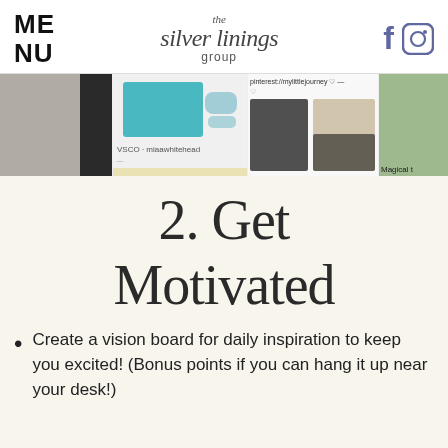MENU | the silver linings group | [Facebook] [Instagram]
[Figure (photo): A strip of four photos showing lifestyle/mood board images including a gray/black textured surface, teal clothing and shoes (VSCO - miaawhitehead), a pinterest board (pinterest://mylittlejourney), and a partial forest scene captioned 'Magical'.]
2. Get Motivated
Create a vision board for daily inspiration to keep you excited! (Bonus points if you can hang it up near your desk!)